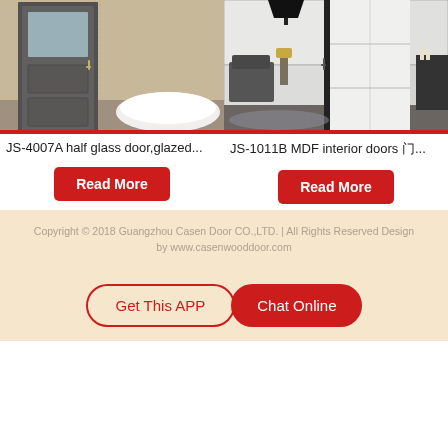[Figure (photo): JS-4007A half glass door with glazed panel in a bathroom setting with a freestanding tub, dark gray door on beige/tan wall]
JS-4007A half glass door,glazed...
[Figure (photo): JS-1011B MDF interior doors in a modern living room setting with white panel door and dark frame]
JS-1011B MDF interior doors 门...
Read More
Read More
Copyright © 2018 Guangzhou Casen Door CO.,LTD. | All Rights Reserved Design by www.casenwooddoor.com
Get This APP
Chat Online